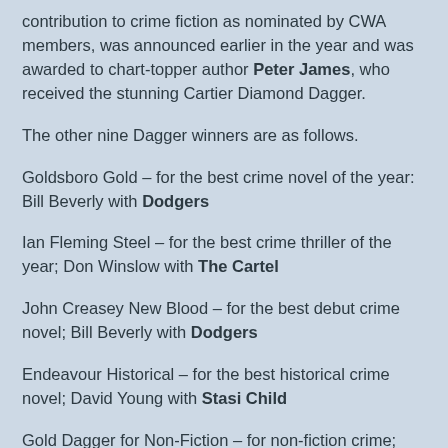contribution to crime fiction as nominated by CWA members, was announced earlier in the year and was awarded to chart-topper author Peter James, who received the stunning Cartier Diamond Dagger.
The other nine Dagger winners are as follows.
Goldsboro Gold – for the best crime novel of the year: Bill Beverly with Dodgers
Ian Fleming Steel – for the best crime thriller of the year; Don Winslow with The Cartel
John Creasey New Blood – for the best debut crime novel; Bill Beverly with Dodgers
Endeavour Historical – for the best historical crime novel; David Young with Stasi Child
Gold Dagger for Non-Fiction – for non-fiction crime; Andrew Hankinson with You Could Do